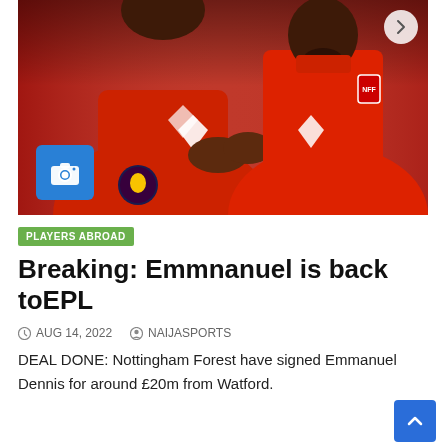[Figure (photo): Two Nottingham Forest footballers in red jerseys with Premier League badge, one clapping hands together, posed against a red background]
PLAYERS ABROAD
Breaking: Emmnanuel is back toEPL
AUG 14, 2022   NAIJASPORTS
DEAL DONE: Nottingham Forest have signed Emmanuel Dennis for around £20m from Watford.